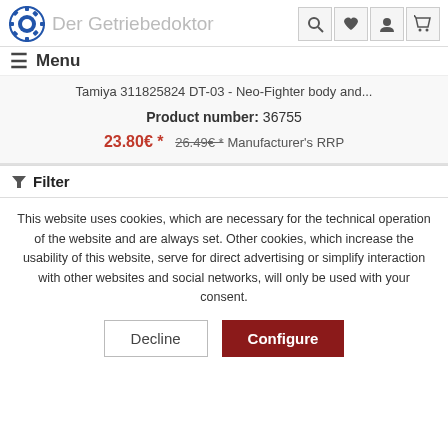Der Getriebedoktor
Menu
Tamiya 311825824 DT-03 - Neo-Fighter body and...
Product number: 36755
23.80€ * 26.49€ * Manufacturer's RRP
Filter
This website uses cookies, which are necessary for the technical operation of the website and are always set. Other cookies, which increase the usability of this website, serve for direct advertising or simplify interaction with other websites and social networks, will only be used with your consent.
Decline
Configure